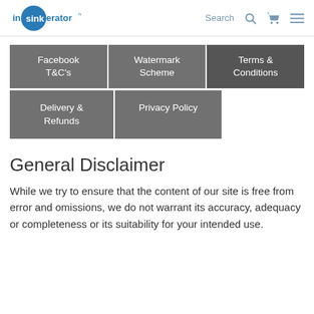InSinkErator | Search
Facebook T&C's
Watermark Scheme
Terms & Conditions
Delivery & Refunds
Privacy Policy
General Disclaimer
While we try to ensure that the content of our site is free from error and omissions, we do not warrant its accuracy, adequacy or completeness or its suitability for your intended use.